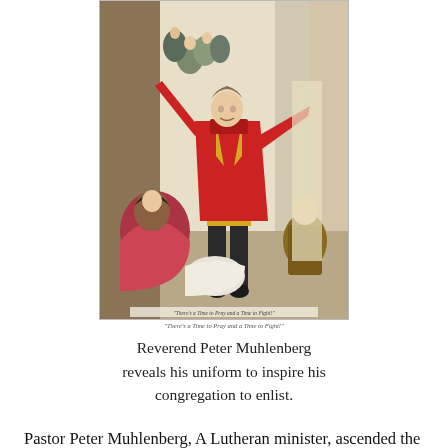[Figure (illustration): Historical painting of Reverend Peter Muhlenberg dramatically throwing off his clerical robes to reveal a military uniform, inspiring his congregation to enlist. Figures in the background look on in surprise. Title text at bottom reads 'There's a Time to Pray and a Time to Fight!']
Reverend Peter Muhlenberg reveals his uniform to inspire his congregation to enlist.
Pastor Peter Muhlenberg, A Lutheran minister, ascended the pulpit on a cold Sunday morning in 1776 and preached from Ecclesiastes 3, “To every thing there is a season, and a time to every purpose under the heaven: A time to be born, and a time to die; a time to plant, and a